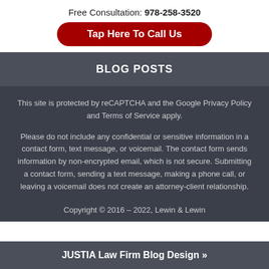Free Consultation: 978-258-3520
Tap Here To Call Us
BLOG POSTS
This site is protected by reCAPTCHA and the Google Privacy Policy and Terms of Service apply.
Please do not include any confidential or sensitive information in a contact form, text message, or voicemail. The contact form sends information by non-encrypted email, which is not secure. Submitting a contact form, sending a text message, making a phone call, or leaving a voicemail does not create an attorney-client relationship.
Copyright © 2016 – 2022, Lewin & Lewin
JUSTIA Law Firm Blog Design »